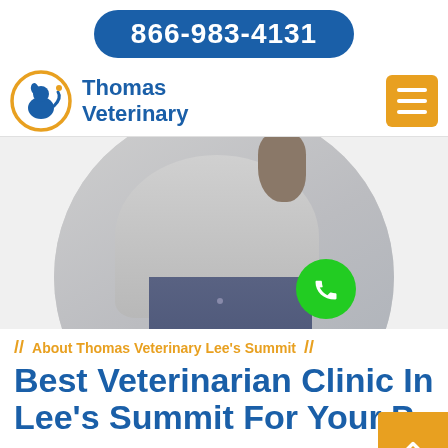866-983-4131
Thomas Veterinary
[Figure (photo): Circular cropped hero photo showing a person in a grey sweatshirt and jeans holding a dog, with a green phone call button overlaid at bottom right]
// About Thomas Veterinary Lee's Summit //
Best Veterinarian Clinic In Lee's Summit For Your P
For over 12 years Thomas Veterinary Lee's Summit